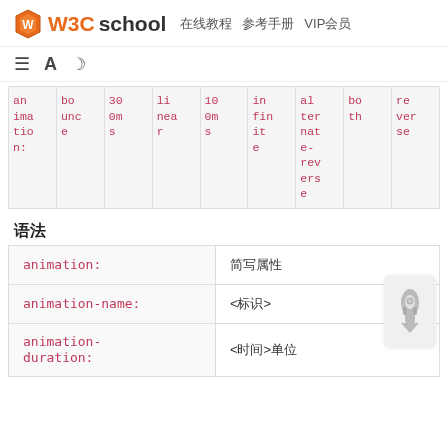W3Cschool  在线教程  参考手册  VIP会员
| animation: | bounce | 300ms | linear | 100ms | infinite | alternate-reverse | both | reverse |
| --- | --- | --- | --- | --- | --- | --- | --- | --- |
语法
| 属性 | 值 |
| --- | --- |
| animation: | 简写属性 |
| animation-name: | <标识> |
| animation-duration: | <时间>单位 |